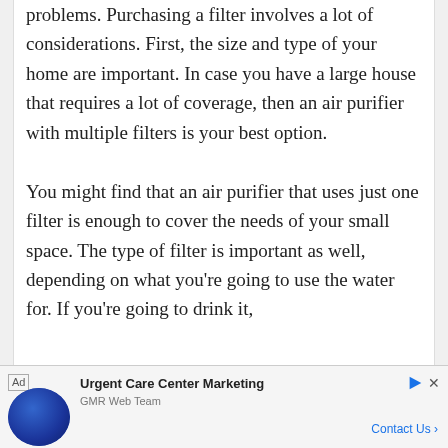contaminate the air and cause health problems. Purchasing a filter involves a lot of considerations. First, the size and type of your home are important. In case you have a large house that requires a lot of coverage, then an air purifier with multiple filters is your best option.

You might find that an air purifier that uses just one filter is enough to cover the needs of your small space. The type of filter is important as well, depending on what you're going to use the water for. If you're going to drink it,
[Figure (other): Advertisement banner for Urgent Care Center Marketing by GMR Web Team, featuring a woman's photo and a Contact Us button]